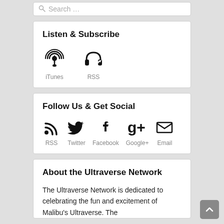[Figure (screenshot): Search box with magnifying glass icon and placeholder text 'Search ...']
Listen & Subscribe
[Figure (infographic): iTunes and RSS podcast icons with labels]
Follow Us & Get Social
[Figure (infographic): Social media icons: RSS, Twitter, Facebook, Google+, Email with labels]
About the Ultraverse Network
The Ultraverse Network is dedicated to celebrating the fun and excitement of Malibu's Ultraverse. The